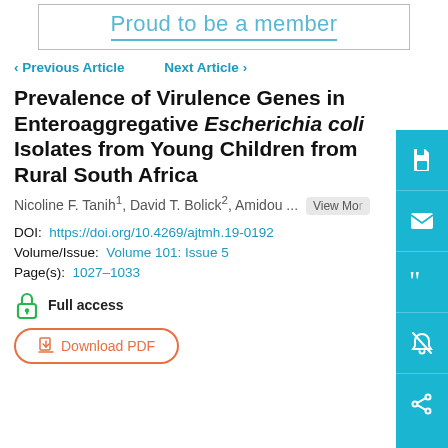[Figure (other): Banner with text 'Proud to be a member' in teal color with underline, inside a bordered box]
< Previous Article   Next Article >
Prevalence of Virulence Genes in Enteroaggregative Escherichia coli Isolates from Young Children from Rural South Africa
Nicoline F. Tanih1, David T. Bolick2, Amidou ...   View More
DOI:  https://doi.org/10.4269/ajtmh.19-0192
Volume/Issue:  Volume 101: Issue 5
Page(s):  1027–1033
Full access
Download PDF